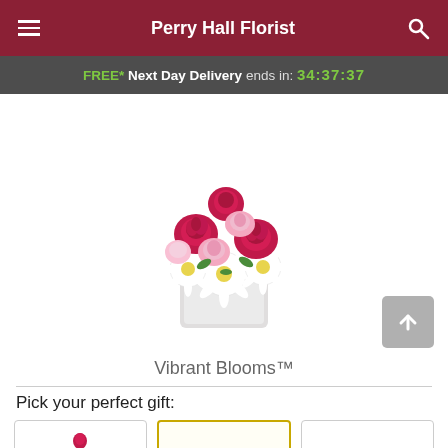Perry Hall Florist
FREE* Next Day Delivery ends in: 34:37:37
[Figure (photo): A floral arrangement of red roses, pink carnations, and white daisies in a small white square ceramic vase, product photo on white background.]
Vibrant Blooms™
Pick your perfect gift: